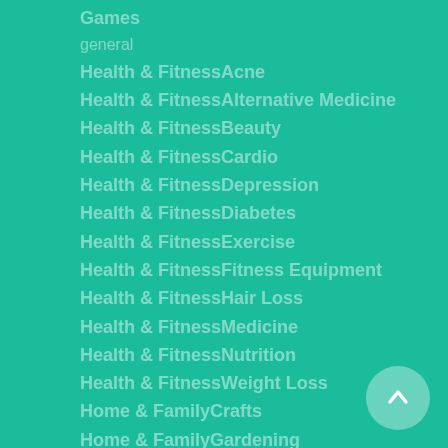Games
general
Health & FitnessAcne
Health & FitnessAlternative Medicine
Health & FitnessBeauty
Health & FitnessCardio
Health & FitnessDepression
Health & FitnessDiabetes
Health & FitnessExercise
Health & FitnessFitness Equipment
Health & FitnessHair Loss
Health & FitnessMedicine
Health & FitnessNutrition
Health & FitnessWeight Loss
Home & FamilyCrafts
Home & FamilyGardening
Home & FamilyHobbies
Home & FamilyHolidays
Home & FamilyHome Improvement
Home & FamilyHome Security
Home & FamilyLandscaping
Home & FamilyParenting
Home & FamilyPets